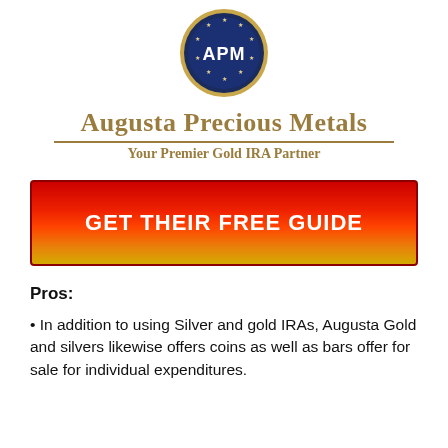[Figure (logo): APM circular logo with dark blue background, gold border, white stars around the edge, and 'APM' text in white in the center]
Augusta Precious Metals
Your Premier Gold IRA Partner
[Figure (other): Red to gold gradient CTA button with text 'GET THEIR FREE GUIDE']
Pros:
In addition to using Silver and gold IRAs, Augusta Gold and silvers likewise offers coins as well as bars offer for sale for individual expenditures.